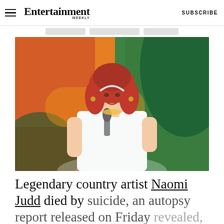Entertainment Weekly — SUBSCRIBE
[Figure (photo): Woman with red hair wearing white blazer holding a microphone, seated on stage with colorful orange and green background]
Legendary country artist Naomi Judd died by suicide, an autopsy report released on Friday revealed, confirming multiple reports.